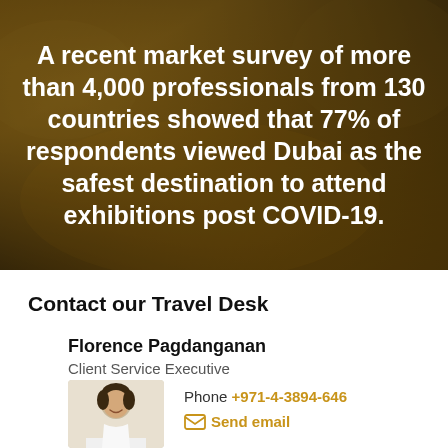[Figure (photo): Background image of a blurred warm outdoor scene (possibly palm trees at dusk) with a dark golden/brown overlay, serving as the hero background]
A recent market survey of more than 4,000 professionals from 130 countries showed that 77% of respondents viewed Dubai as the safest destination to attend exhibitions post COVID-19.
Contact our Travel Desk
Florence Pagdanganan
Client Service Executive
[Figure (photo): Headshot photo of Florence Pagdanganan, a woman smiling, wearing white, against a white background]
Phone +971-4-3894-646
Send email